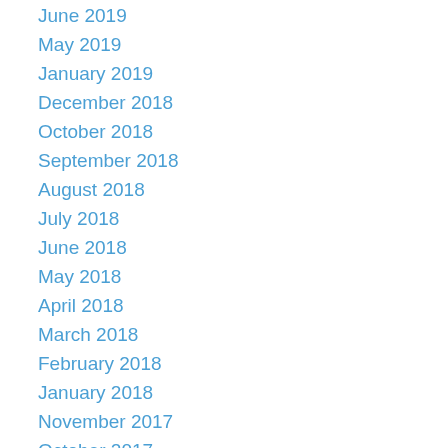June 2019
May 2019
January 2019
December 2018
October 2018
September 2018
August 2018
July 2018
June 2018
May 2018
April 2018
March 2018
February 2018
January 2018
November 2017
October 2017
September 2017
August 2017
July 2017
June 2017